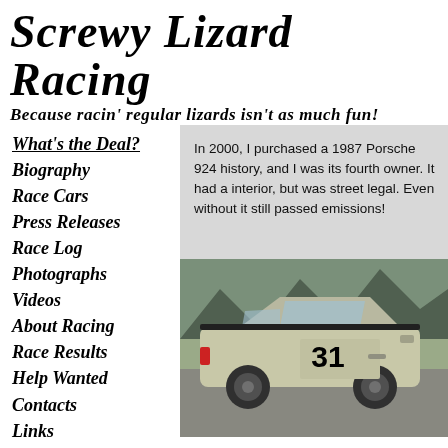Screwy Lizard Racing
Because racin' regular lizards isn't as much fun!
What's the Deal?
Biography
Race Cars
Press Releases
Race Log
Photographs
Videos
About Racing
Race Results
Help Wanted
Contacts
Links
In 2000, I purchased a 1987 Porsche 924 history, and I was its fourth owner. It had a interior, but was street legal. Even without it still passed emissions!
[Figure (photo): Photo of a silver/tan Porsche 924 race car with the number 31 on the door, parked in what appears to be a parking lot with trees in the background.]